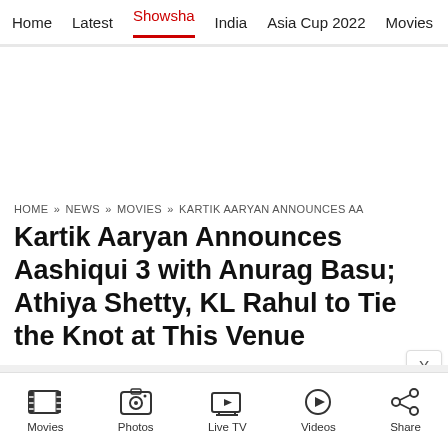Home  Latest  Showsha  India  Asia Cup 2022  Movies  Cricket
HOME » NEWS » MOVIES » KARTIK AARYAN ANNOUNCES AA
Kartik Aaryan Announces Aashiqui 3 with Anurag Basu; Athiya Shetty, KL Rahul to Tie the Knot at This Venue
By: Entertainment Bureau • News18.com
Last Updated: SEPTEMBER 05, 2022, 22:23 IST
Movies  Photos  Live TV  Videos  Share